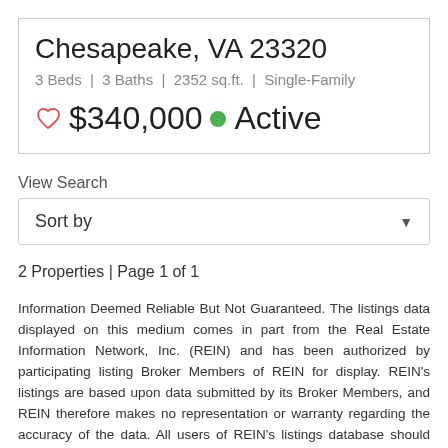Chesapeake, VA 23320
3 Beds | 3 Baths | 2352 sq.ft. | Single-Family
$340,000 Active
View Search
Sort by
2 Properties | Page 1 of 1
Information Deemed Reliable But Not Guaranteed. The listings data displayed on this medium comes in part from the Real Estate Information Network, Inc. (REIN) and has been authorized by participating listing Broker Members of REIN for display. REIN's listings are based upon data submitted by its Broker Members, and REIN therefore makes no representation or warranty regarding the accuracy of the data. All users of REIN's listings database should confirm the accuracy of the listing information directly with